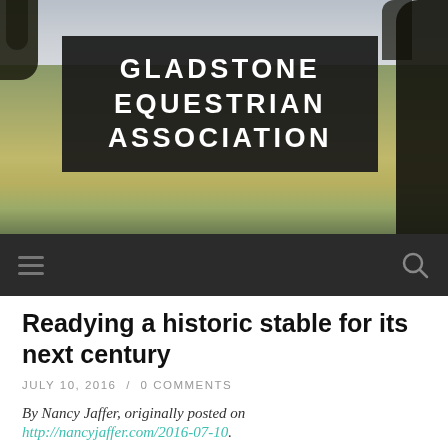[Figure (photo): Outdoor equestrian grounds with grass field, tree silhouettes against cloudy sky, with dark semi-transparent banner overlay showing 'GLADSTONE EQUESTRIAN ASSOCIATION']
GLADSTONE EQUESTRIAN ASSOCIATION
≡   🔍
Readying a historic stable for its next century
JULY 10, 2016 / 0 COMMENTS
By Nancy Jaffer, originally posted on
http://nancyjaffer.com/2016-07-10.